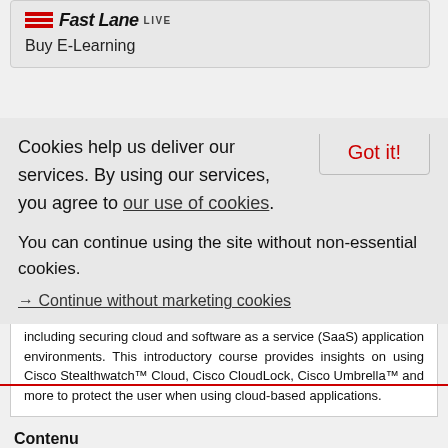[Figure (logo): Fast Lane LIVE logo with red stripe lines and LIVE badge]
Buy E-Learning
Cookies help us deliver our services. By using our services, you agree to our use of cookies.
Got it!
You can continue using the site without non-essential cookies.
→ Continue without marketing cookies
course, you'll learn the basics from a cloud consumer perspective including securing cloud and software as a service (SaaS) application environments. This introductory course provides insights on using Cisco Stealthwatch™ Cloud, Cisco CloudLock, Cisco Umbrella™ and more to protect the user when using cloud-based applications.
Contenu